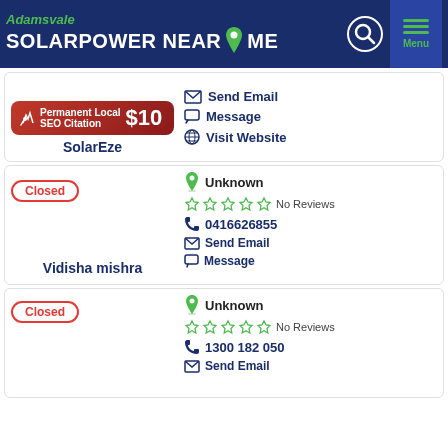Adamsvale SOLARPOWER NEAR ME
[Figure (screenshot): SEO citation banner: Permanent Local SEO Citation $10]
SolarEze
Send Email | Message | Visit Website
Closed
Unknown | No Reviews | 0416626855 | Send Email | Message
Vidisha mishra
Closed
Unknown | No Reviews | 1300 182 050 | Send Email